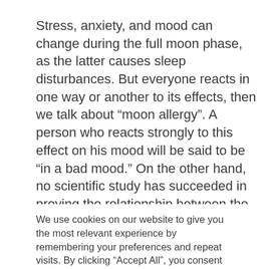Stress, anxiety, and mood can change during the full moon phase, as the latter causes sleep disturbances. But everyone reacts in one way or another to its effects, then we talk about “moon allergy”. A person who reacts strongly to this effect on his mood will be said to be “in a bad mood.” On the other hand, no scientific study has succeeded in proving the relationship between the moon
We use cookies on our website to give you the most relevant experience by remembering your preferences and repeat visits. By clicking “Accept All”, you consent to the use of ALL the cookies. However, you may visit "Cookie Settings" to provide a controlled consent.